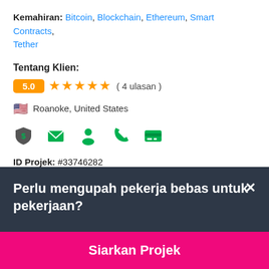Kemahiran: Bitcoin, Blockchain, Ethereum, Smart Contracts, Tether
Tentang Klien:
5.0 ★★★★★ ( 4 ulasan )
🇺🇸 Roanoke, United States
[Figure (infographic): Row of 5 green icons: shield with dollar sign, envelope, person, phone, credit card]
ID Projek: #33746282
Perlu mengupah pekerja bebas untuk pekerjaan?
Siarkan Projek